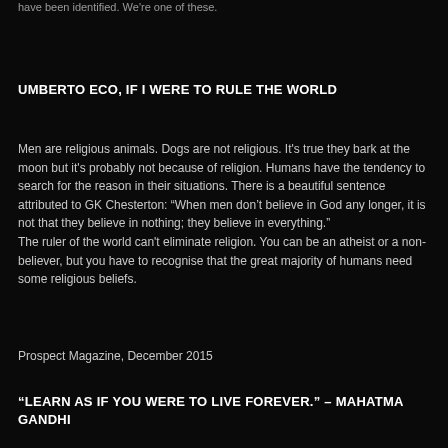have been identified. We're one of these.
UMBERTO ECO, IF I WERE TO RULE THE WORLD
Men are religious animals. Dogs are not religious. It's true they bark at the moon but it's probably not because of religion. Humans have the tendency to search for the reason in their situations. There is a beautiful sentence attributed to GK Chesterton: “When men don’t believe in God any longer, it is not that they believe in nothing; they believe in everything.”
The ruler of the world can't eliminate religion. You can be an atheist or a non-believer, but you have to recognise that the great majority of humans need some religious beliefs.
Prospect Magazine, December 2015
“LEARN AS IF YOU WERE TO LIVE FOREVER.” – MAHATMA GANDHI